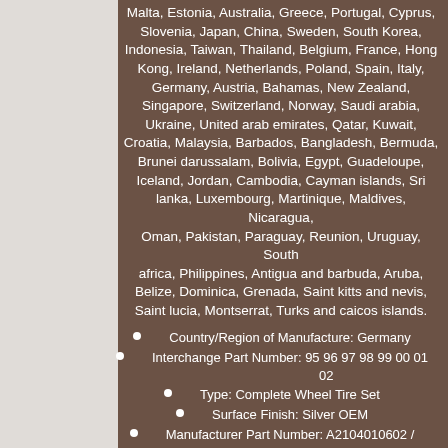Malta, Estonia, Australia, Greece, Portugal, Cyprus, Slovenia, Japan, China, Sweden, South Korea, Indonesia, Taiwan, Thailand, Belgium, France, Hong Kong, Ireland, Netherlands, Poland, Spain, Italy, Germany, Austria, Bahamas, New Zealand, Singapore, Switzerland, Norway, Saudi arabia, Ukraine, United arab emirates, Qatar, Kuwait, Croatia, Malaysia, Barbados, Bangladesh, Bermuda, Brunei darussalam, Bolivia, Egypt, Guadeloupe, Iceland, Jordan, Cambodia, Cayman islands, Sri lanka, Luxembourg, Martinique, Maldives, Nicaragua, Oman, Pakistan, Paraguay, Reunion, Uruguay, South africa, Philippines, Antigua and barbuda, Aruba, Belize, Dominica, Grenada, Saint kitts and nevis, Saint lucia, Montserrat, Turks and caicos islands.
Country/Region of Manufacture: Germany
Interchange Part Number: 95 96 97 98 99 00 01 02
Type: Complete Wheel Tire Set
Surface Finish: Silver OEM
Manufacturer Part Number: A2104010602 / 2104010602 / A 210 401 06 02
Other Part Number: E-Class E Class MB Mercedes Original OEM
Brand: Mercedes-Benz
Warranty: 90 Day